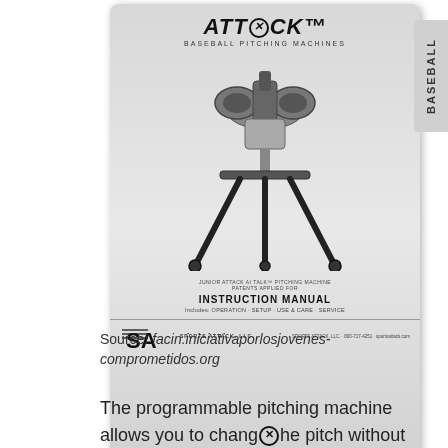[Figure (photo): Cover of the Sports Attack Baseball Pitching Machines Instruction Manual, showing the Attack pitching machine on a tripod stand, with the SA Sports Attack logo and contact information at the bottom. A tab on the right reads 'BASEBALL'.]
Source: facin.iniciativaporlosjovenes-comprometidos.org
The programmable pitching machine allows you to change the pitch without